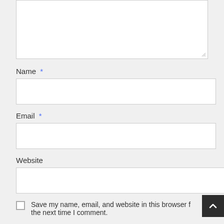[Figure (screenshot): A comment form showing a textarea at the top (partially visible), followed by labeled input fields for Name (required), Email (required), and Website, each with a text input box. At the bottom is a checkbox with text 'Save my name, email, and website in this browser f...' and 'the next time I comment.' A dark scroll-to-top button appears in the bottom-right corner.]
Name *
Email *
Website
Save my name, email, and website in this browser f the next time I comment.